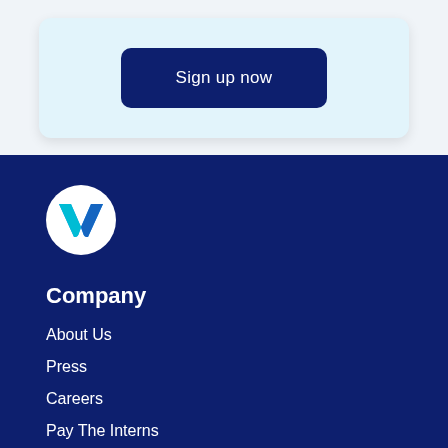[Figure (other): Sign up now button inside a light blue card]
[Figure (logo): Workweek 'W' logo in a white circle on dark navy background]
Company
About Us
Press
Careers
Pay The Interns